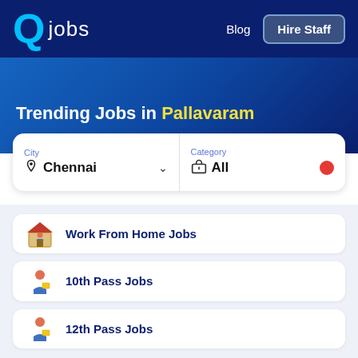Q jobs | Blog | Hire Staff
Trending Jobs in Pallavaram
City: Chennai | Category: All
Work From Home Jobs
10th Pass Jobs
12th Pass Jobs